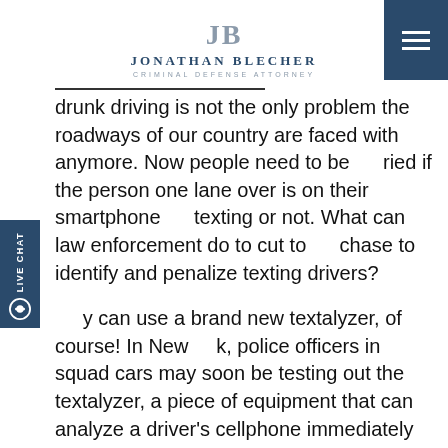JB — Jonathan Blecher, Criminal Defense Attorney
drunk driving is not the only problem the roadways of our country are faced with anymore. Now people need to be worried if the person one lane over is on their smartphone texting or not. What can law enforcement do to cut to the chase to identify and penalize texting drivers?
They can use a brand new textalyzer, of course! In New York, police officers in squad cars may soon be testing out the textalyzer, a piece of equipment that can analyze a driver's cellphone immediately after a car accident to determine if they were using it at the time of collision. The device is under development from Cellebrite, a company that has suspected ties to the FBI's recent cracking of an encrypted iPhone (see a recent article from Forbes.com